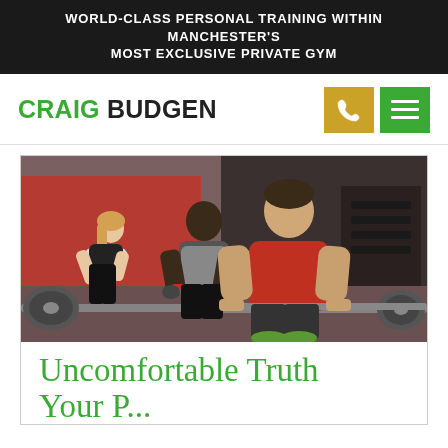WORLD-CLASS PERSONAL TRAINING WITHIN MANCHESTER'S MOST EXCLUSIVE PRIVATE GYM
CRAIG BUDGEN
[Figure (photo): Three athletes in a gym performing deadlifts with barbells and dumbbells. A woman in black on the left, a dark-skinned man in gray vest in the middle, and a muscular man in a red tank top on the right in the foreground. Red wall and weight racks visible in the background.]
Uncomfortable Truth Your P...